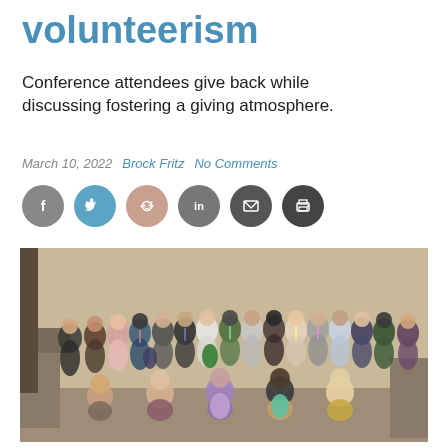volunteerism
Conference attendees give back while discussing fostering a giving atmosphere.
March 10, 2022   Brock Fritz   No Comments
[Figure (other): Six social media share buttons (Facebook, Twitter, Reddit, LinkedIn, Email, Print) as circular icons in gray, teal, pink/rose, gray, dark gray, and dark gray colors.]
[Figure (photo): Large group photo of approximately 50+ conference attendees posing together indoors, smiling and waving at the camera. The room has beige walls and tables visible in the background.]